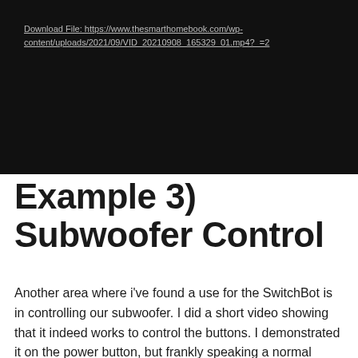[Figure (screenshot): Dark video player area (black background) with a download link for a video file]
Download File: https://www.thesmarthomebook.com/wp-content/uploads/2021/09/VID_20210908_165329_01.mp4?_=2
Example 3) Subwoofer Control
Another area where i've found a use for the SwitchBot is in controlling our subwoofer. I did a short video showing that it indeed works to control the buttons. I demonstrated it on the power button, but frankly speaking a normal smartplug or socket would work better here, but the button to the right of